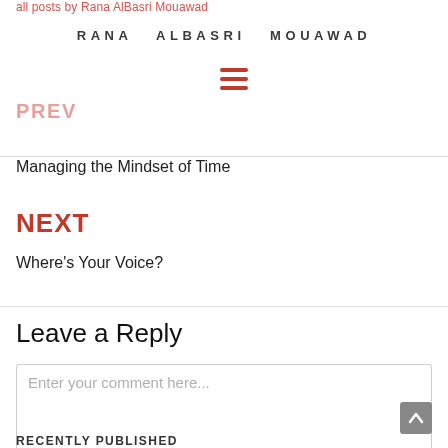all posts by Rana AlBasri Mouawad
RANA  ALBASRI  MOUAWAD
PREV
Managing the Mindset of Time
NEXT
Where's Your Voice?
Leave a Reply
Enter your comment here...
RECENTLY PUBLISHED